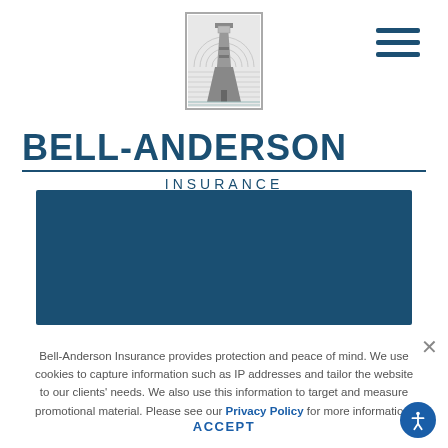[Figure (logo): Bell-Anderson Insurance lighthouse logo in a square border, gray scale]
BELL-ANDERSON
INSURANCE
[Figure (photo): Dark blue/navy rectangle banner image area]
Bell-Anderson Insurance provides protection and peace of mind. We use cookies to capture information such as IP addresses and tailor the website to our clients' needs. We also use this information to target and measure promotional material. Please see our Privacy Policy for more information.
ACCEPT